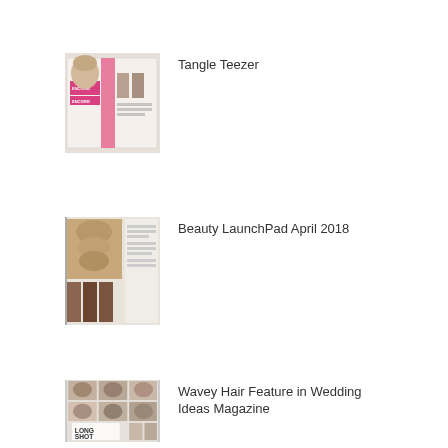[Figure (photo): Magazine spread with 'ENCORE! ENCORE!' text, featuring hair and beauty content with pink accents]
Tangle Teezer
[Figure (photo): Beauty LaunchPad April 2018 magazine page showing braided hair and hair products]
Beauty LaunchPad April 2018
[Figure (photo): Magazine page featuring 'LONG SHOT' with multiple photos of women with wavy hair styles]
Wavey Hair Feature in Wedding Ideas Magazine